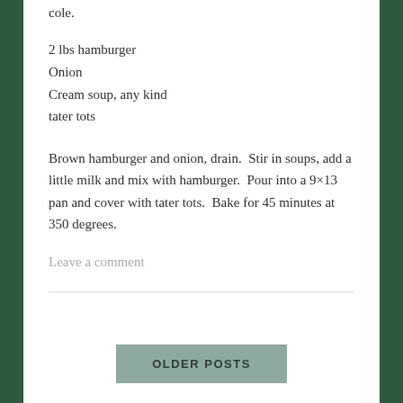cole.
2 lbs hamburger
Onion
Cream soup, any kind
tater tots
Brown hamburger and onion, drain.  Stir in soups, add a little milk and mix with hamburger.  Pour into a 9×13 pan and cover with tater tots.  Bake for 45 minutes at 350 degrees.
Leave a comment
OLDER POSTS